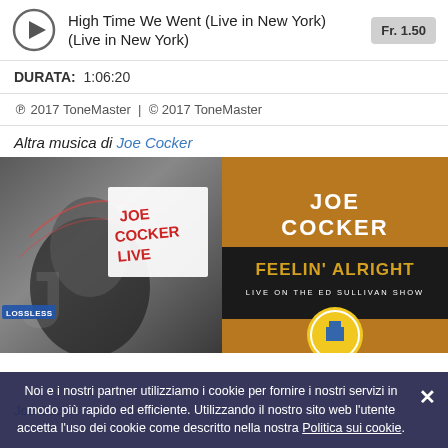High Time We Went (Live in New York) (Live in New York)
Fr. 1.50
DURATA:  1:06:20
℗ 2017 ToneMaster  |  © 2017 ToneMaster
Altra musica di Joe Cocker
[Figure (photo): Joe Cocker Live album cover - black and white photo of Joe Cocker with red handwritten text 'Joe Cocker Live' overlay]
[Figure (photo): Joe Cocker Feelin' Alright Live on the Ed Sullivan Show album cover - brown/gold background with white bold text and circular badge]
Noi e i nostri partner utilizziamo i cookie per fornire i nostri servizi in modo più rapido ed efficiente. Utilizzando il nostro sito web l'utente accetta l'uso dei cookie come descritto nella nostra Politica sui cookie.